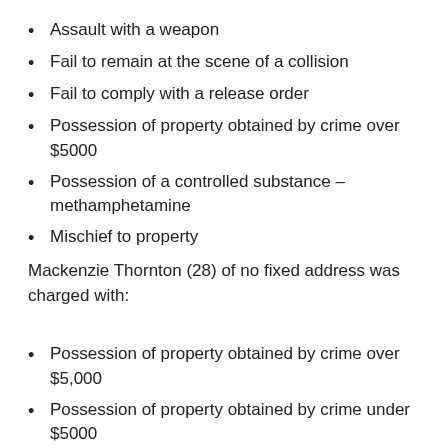Assault with a weapon
Fail to remain at the scene of a collision
Fail to comply with a release order
Possession of property obtained by crime over $5000
Possession of a controlled substance – methamphetamine
Mischief to property
Mackenzie Thornton (28) of no fixed address was charged with:
Possession of property obtained by crime over $5,000
Possession of property obtained by crime under $5000